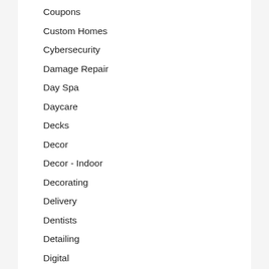Coupons
Custom Homes
Cybersecurity
Damage Repair
Day Spa
Daycare
Decks
Decor
Decor - Indoor
Decorating
Delivery
Dentists
Detailing
Digital
Digital Advertising